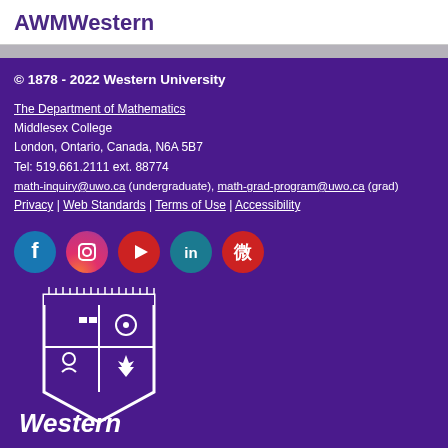AWMWestern
© 1878 - 2022 Western University
The Department of Mathematics
Middlesex College
London, Ontario, Canada, N6A 5B7
Tel: 519.661.2111 ext. 88774
math-inquiry@uwo.ca (undergraduate), math-grad-program@uwo.ca (grad)
Privacy | Web Standards | Terms of Use | Accessibility
[Figure (other): Social media icons row: Facebook (blue circle), Instagram (gradient circle), YouTube/Play (red circle), LinkedIn (teal circle), Weibo (red circle)]
[Figure (logo): Western University shield logo with text 'Western' below in white on purple background]